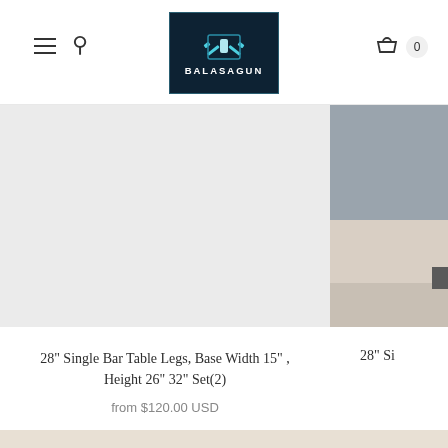[Figure (logo): Balasagun brand logo — dark navy square with crossed pickaxe/hammer icon in cyan and white text BALASAGUN below, framed with a thin cyan border rectangle.]
[Figure (photo): Product photo area: left side shows a large light grey blank product image area; right side partially shows a photo of a table leg against a grey wall with a light wood tabletop surface.]
28" Single Bar Table Legs, Base Width 15" , Height 26" 32" Set(2)
from $120.00 USD
28" Si